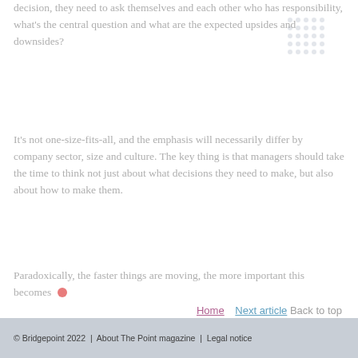decision, they need to ask themselves and each other who has responsibility, what's the central question and what are the expected upsides and downsides?
It's not one-size-fits-all, and the emphasis will necessarily differ by company sector, size and culture. The key thing is that managers should take the time to think not just about what decisions they need to make, but also about how to make them.
Paradoxically, the faster things are moving, the more important this becomes •
Home   Next article   Back to top
© Bridgepoint 2022  |  About The Point magazine  |  Legal notice